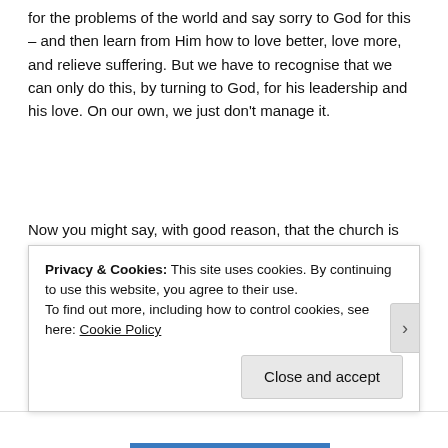for the problems of the world and say sorry to God for this – and then learn from Him how to love better, love more, and relieve suffering. But we have to recognise that we can only do this, by turning to God, for his leadership and his love. On our own, we just don't manage it.
Now you might say, with good reason, that the church is not presenting this utopia to the world. We're not the perfect houses of love that we're meant to be. That's very true. There are some pretty irritating and occasionally nasty people within church walls – such as
Privacy & Cookies: This site uses cookies. By continuing to use this website, you agree to their use.
To find out more, including how to control cookies, see here: Cookie Policy